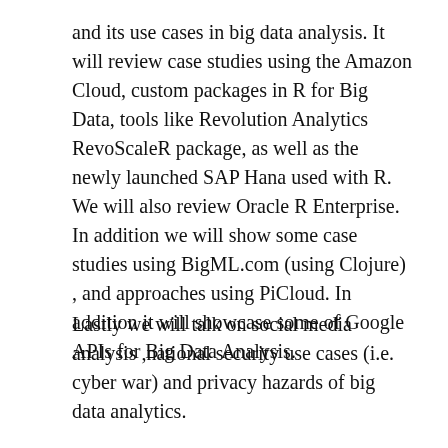and its use cases in big data analysis. It will review case studies using the Amazon Cloud, custom packages in R for Big Data, tools like Revolution Analytics RevoScaleR package, as well as the newly launched SAP Hana used with R. We will also review Oracle R Enterprise. In addition we will show some case studies using BigML.com (using Clojure) , and approaches using PiCloud. In addition it will showcase some of Google APIs for Big Data Analysis.
Lastly we will talk on social media analysis ,national security use cases (i.e. cyber war) and privacy hazards of big data analytics.